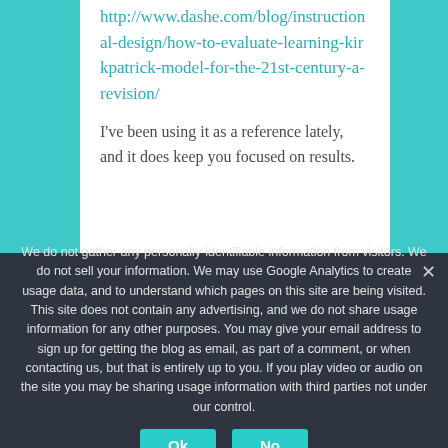http://www.dashe.com/blog/instructional-design/how-to-evaluate-learning-kirkpatrick-model-for-the-21st-century-a-revision/
I've been using it as a reference lately, and it does keep you focused on results.
We do not gather any personally-identifiable information from visitors. We do not sell your information. We may use Google Analytics to create usage data, and to understand which pages on this site are being visited. This site does not contain any advertising, and we do not share usage information for any other purposes. You may give your email address to sign up for getting the blog as email, as part of a comment, or when contacting us, but that is entirely up to you. If you play video or audio on the site you may be sharing usage information with third parties not under our control.